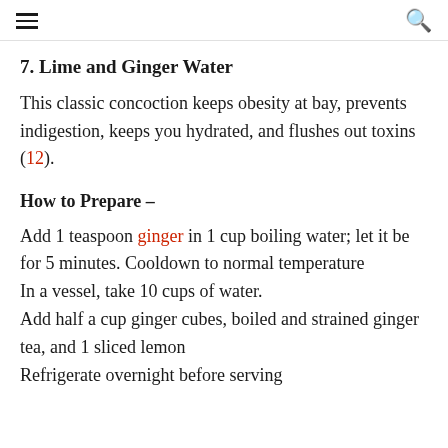≡   🔍
7. Lime and Ginger Water
This classic concoction keeps obesity at bay, prevents indigestion, keeps you hydrated, and flushes out toxins (12).
How to Prepare –
Add 1 teaspoon ginger in 1 cup boiling water; let it be for 5 minutes. Cooldown to normal temperature
In a vessel, take 10 cups of water.
Add half a cup ginger cubes, boiled and strained ginger tea, and 1 sliced lemon
Refrigerate overnight before serving